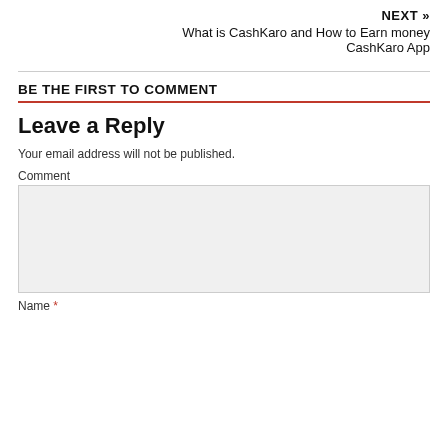NEXT »
What is CashKaro and How to Earn money CashKaro App
BE THE FIRST TO COMMENT
Leave a Reply
Your email address will not be published.
Comment
Name *